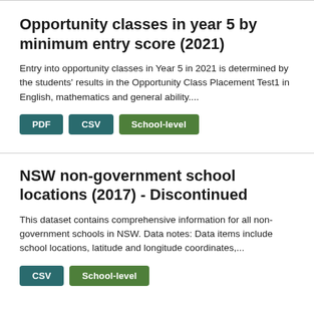Opportunity classes in year 5 by minimum entry score (2021)
Entry into opportunity classes in Year 5 in 2021 is determined by the students' results in the Opportunity Class Placement Test1 in English, mathematics and general ability....
PDF | CSV | School-level
NSW non-government school locations (2017) - Discontinued
This dataset contains comprehensive information for all non-government schools in NSW. Data notes: Data items include school locations, latitude and longitude coordinates,...
CSV | School-level